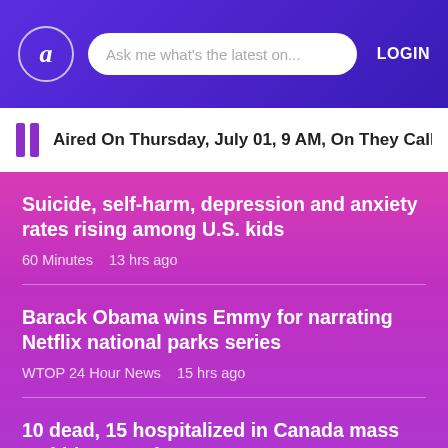a  Ask me what's the latest on...  LOGIN
Aired On Thursday, July 01, 9 AM, On They Called This
Suicide, self-harm, depression and anxiety rates rising among U.S. kids
60 Minutes   13 hrs ago
Barack Obama wins Emmy for narrating Netflix national parks series
WTOP 24 Hour News   15 hrs ago
10 dead, 15 hospitalized in Canada mass stabbing attacks
WTOP 24 Hour News   16 hrs ago